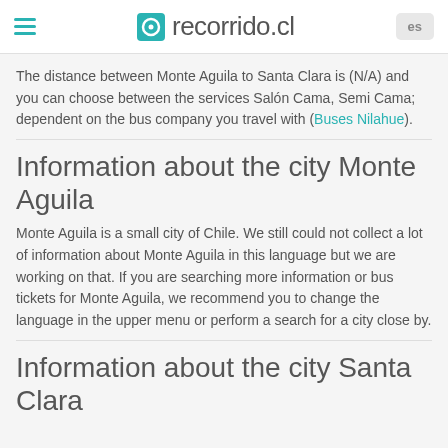recorrido.cl
The distance between Monte Aguila to Santa Clara is (N/A) and you can choose between the services Salón Cama, Semi Cama; dependent on the bus company you travel with (Buses Nilahue).
Information about the city Monte Aguila
Monte Aguila is a small city of Chile. We still could not collect a lot of information about Monte Aguila in this language but we are working on that. If you are searching more information or bus tickets for Monte Aguila, we recommend you to change the language in the upper menu or perform a search for a city close by.
Information about the city Santa Clara